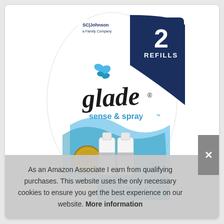[Figure (photo): Glade Sense & Spray Ocean Adventure 2 Refills product package. White and navy blue packaging with SCJohnson branding at top, large '2 REFILLS' badge in upper right corner on navy background, Glade script logo in black, 'sense & spray' in teal text, two white spray refill bottles in the center, 'OCEAN ADVENTURE' text on blue wave design at bottom.]
As an Amazon Associate I earn from qualifying purchases. This website uses the only necessary cookies to ensure you get the best experience on our website. More information